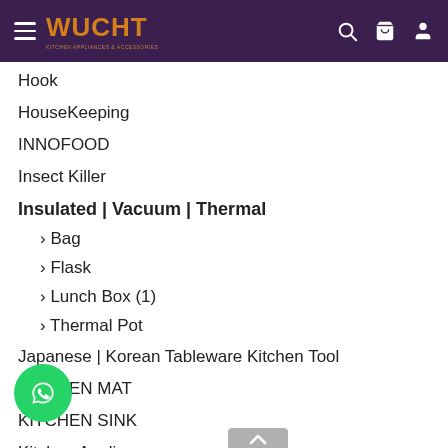WUCHT
Hook
HouseKeeping
INNOFOOD
Insect Killer
Insulated | Vacuum | Thermal
> Bag
> Flask
> Lunch Box (1)
> Thermal Pot
Japanese | Korean Tableware Kitchen Tool
KITCHEN MAT
KITCHEN SINK
Kitchen Appliances
Kitchen Storage&Accessories